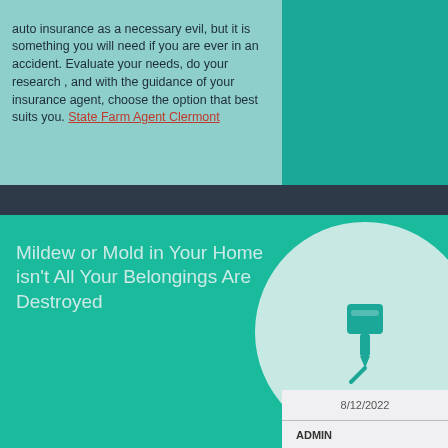auto insurance as a necessary evil, but it is something you will need if you are ever in an accident. Evaluate your needs, do your research , and with the guidance of your insurance agent, choose the option that best suits you. State Farm Agent Clermont
Mildew or Mold in Your Home isn't All Your Belongings Are Destroyed
[Figure (illustration): A circular badge with a teal background containing a pushpin/thumbtack icon in dark teal, set against a light teal (mint) circle.]
8/12/2022
ADMIN